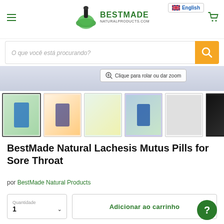[Figure (screenshot): BestMade Natural Products website header with logo (mortar and pestle icon), hamburger menu, language selector showing English with UK flag, and cart icon]
[Figure (screenshot): Search bar with placeholder text 'O que você está procurando?' and orange search button with magnifier icon]
[Figure (screenshot): Product image thumbnails row showing six product images for Lachesis Mutus Pills, with an active first thumbnail and right arrow for navigation. Zoom tooltip: 'Clique para rolar ou dar zoom']
BestMade Natural Lachesis Mutus Pills for Sore Throat
por BestMade Natural Products
[Figure (screenshot): Quantity selector showing '1' with dropdown arrow, and 'Adicionar ao carrinho' (Add to cart) green button, plus green help circle button with question mark]